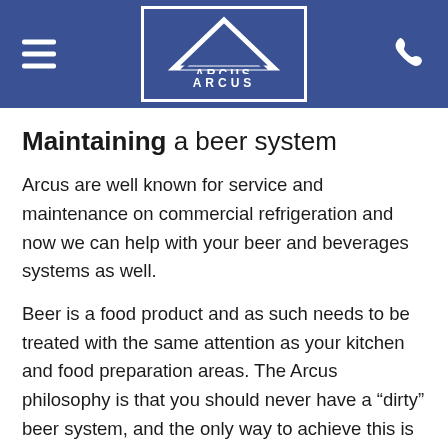Arcus logo header with hamburger menu and phone icon
Maintaining a beer system
Arcus are well known for service and maintenance on commercial refrigeration and now we can help with your beer and beverages systems as well.
Beer is a food product and as such needs to be treated with the same attention as your kitchen and food preparation areas. The Arcus philosophy is that you should never have a “dirty” beer system, and the only way to achieve this is to regularly clean it.
Regular maintenance of your beer system will ensure that it never becomes “dirty”. Cleaning not only involves the lines but the taps, founts and keg